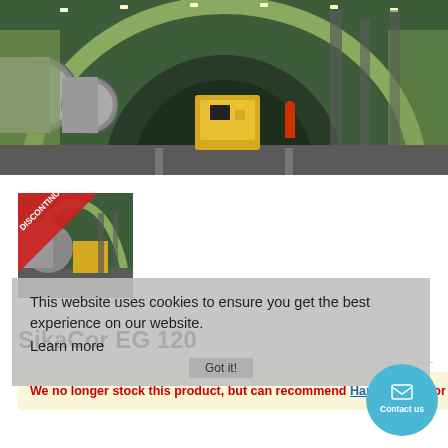[Figure (photo): Industrial tunnel interior with large pipes and yellow machinery, railway tracks on the floor, green-tiled arched walls with lighting]
[Figure (photo): Thumbnail of same tunnel image with a red DISCONTINUED diagonal banner overlay in top-left corner]
This website uses cookies to ensure you get the best experience on our website.
Learn more
SikaCor EG 120
We no longer stock this product, but can recommend Hardtop Flexi or Sherwin-Williams Envirolastic 940 DTM as a great alternative.